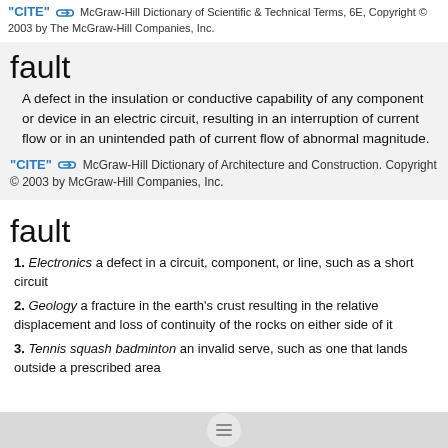"CITE" [link icon] McGraw-Hill Dictionary of Scientific & Technical Terms, 6E, Copyright © 2003 by The McGraw-Hill Companies, Inc.
fault
A defect in the insulation or conductive capability of any component or device in an electric circuit, resulting in an interruption of current flow or in an unintended path of current flow of abnormal magnitude.
"CITE" [link icon] McGraw-Hill Dictionary of Architecture and Construction. Copyright © 2003 by McGraw-Hill Companies, Inc.
fault
1. Electronics a defect in a circuit, component, or line, such as a short circuit
2. Geology a fracture in the earth's crust resulting in the relative displacement and loss of continuity of the rocks on either side of it
3. Tennis squash badminton an invalid serve, such as one that lands outside a prescribed area